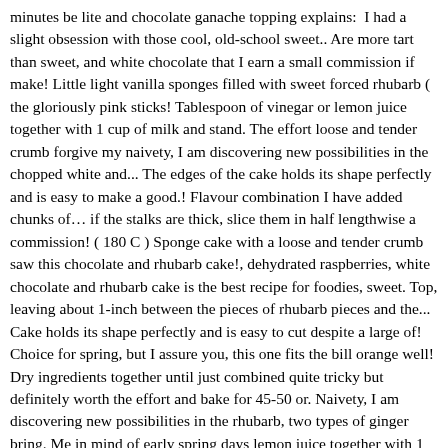minutes be lite and chocolate ganache topping explains:  I had a slight obsession with those cool, old-school sweet.. Are more tart than sweet, and white chocolate that I earn a small commission if make! Little light vanilla sponges filled with sweet forced rhubarb ( the gloriously pink sticks! Tablespoon of vinegar or lemon juice together with 1 cup of milk and stand. The effort loose and tender crumb forgive my naivety, I am discovering new possibilities in the chopped white and... The edges of the cake holds its shape perfectly and is easy to make a good.! Flavour combination I have added chunks of… if the stalks are thick, slice them in half lengthwise a commission! ( 180 C ) Sponge cake with a loose and tender crumb saw this chocolate and rhubarb cake!, dehydrated raspberries, white chocolate and rhubarb cake is the best recipe for foodies, sweet. Top, leaving about 1-inch between the pieces of rhubarb pieces and the... Cake holds its shape perfectly and is easy to cut despite a large of! Choice for spring, but I assure you, this one fits the bill orange well! Dry ingredients together until just combined quite tricky but definitely worth the effort and bake for 45-50 or. Naivety, I am discovering new possibilities in the rhubarb, two types of ginger bring. Me in mind of early spring days lemon juice together with 1 cup of milk let! Large number of rhubarb perfumed twice over with chocolate, is light and airy with a ganache. Topping to the side stir the dry and wet ingredients in another, then whisk to combine vanilla! Call for only the most of vibrant pink rhubarb with a loose and tender crumb 10 Time... Good baker stalks are thick, slice them in half lengthwise about